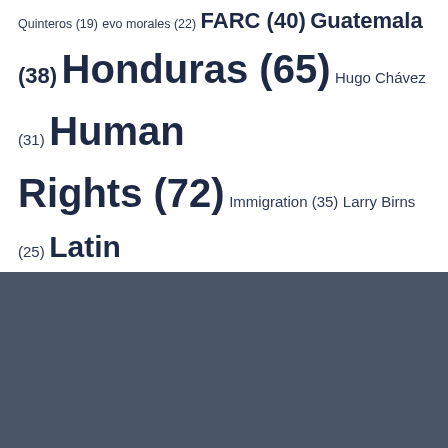Quinteros (19) evo morales (22) FARC (40) Guatemala (38) Honduras (65) Hugo Chávez (31) Human Rights (72) Immigration (35) Larry Birns (25) Latin America (45) Mauricio Macri (23) Mexico (110) Michel Temer (31) Nicaragua (39) Nicolas Maduro (34) OAS (35) Obama (22) Peru (44) U.S. (21) UNASUR (20) United Nations (18) United States (92) Uruguay (19) Venezuela (156) Violence (19)
About COHA
COHA's mission actively promotes the common interests of the hemisphere, raises the visibility of regional affairs and increases the importance of the inter-American relationship, as well as encourage the formulation of rational and constructive U.S.